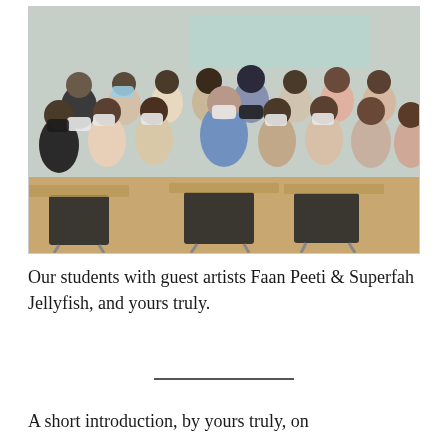[Figure (photo): Group photo of students and guest artists wearing face masks in a classroom setting. Students are posing, some making peace signs. Chairs and desks are visible in the foreground.]
Our students with guest artists Faan Peeti & Superfah Jellyfish, and yours truly.
A short introduction, by yours truly, on